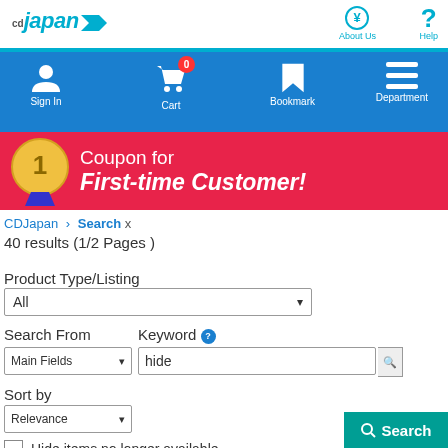[Figure (logo): CDJapan logo with teal text and arrow]
[Figure (other): About Us and Help navigation icons in top bar]
[Figure (other): Blue navigation bar with Sign In, Cart (0), Bookmark, Department icons]
[Figure (other): Pink/red banner: Coupon for First-time Customer! with gold medal]
CDJapan > Search x
40 results (1/2 Pages )
Product Type/Listing
All
Search From
Keyword
Main Fields
hide
Sort by
Relevance
Hide items no longer available
Search